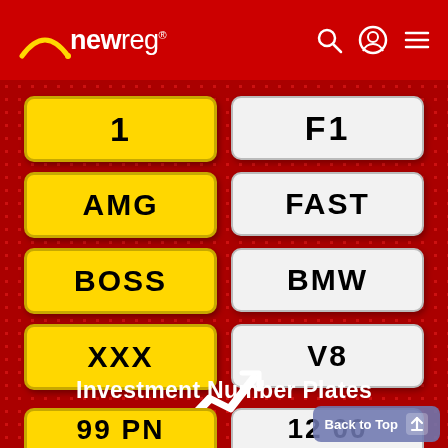[Figure (logo): newreg logo with arc/smile underneath, white text on red background header bar with search, account, and menu icons]
[Figure (infographic): Grid of UK number plate style buttons on red dotted background: yellow plates showing I, AMG, BOSS, XXX and white plates showing F1, FAST, BMW, V8. Trending up arrow icon. Investment Number Plates heading. Partial bottom plates showing 99 PN (yellow) and 12 00 (white). Back to Top button bottom right.]